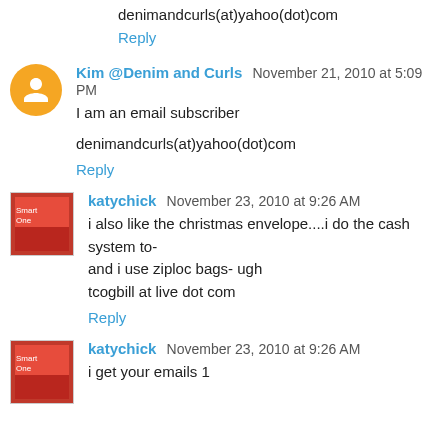denimandcurls(at)yahoo(dot)com
Reply
Kim @Denim and Curls  November 21, 2010 at 5:09 PM
I am an email subscriber
denimandcurls(at)yahoo(dot)com
Reply
katychick  November 23, 2010 at 9:26 AM
i also like the christmas envelope....i do the cash system to- and i use ziploc bags- ugh
tcogbill at live dot com
Reply
katychick  November 23, 2010 at 9:26 AM
i get your emails 1